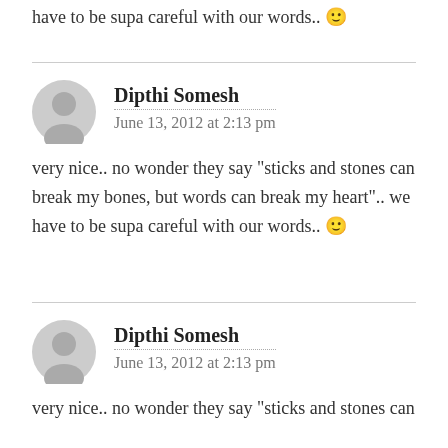have to be supa careful with our words.. 🙂
Dipthi Somesh
June 13, 2012 at 2:13 pm
very nice.. no wonder they say "sticks and stones can break my bones, but words can break my heart".. we have to be supa careful with our words.. 🙂
Dipthi Somesh
June 13, 2012 at 2:13 pm
very nice.. no wonder they say "sticks and stones can